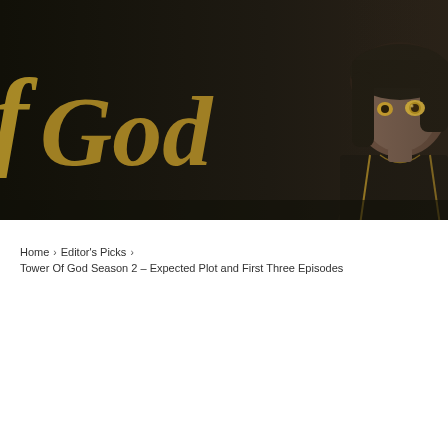[Figure (illustration): Hero banner image for Tower of God Season 2 article. Dark background with stylized golden script text reading 'of God' on the left side, and an anime character (dark-haired, wearing a dark outfit with gold trim) visible on the right side with amber/golden eyes.]
Home › Editor's Picks › Tower Of God Season 2 – Expected Plot and First Three Episodes